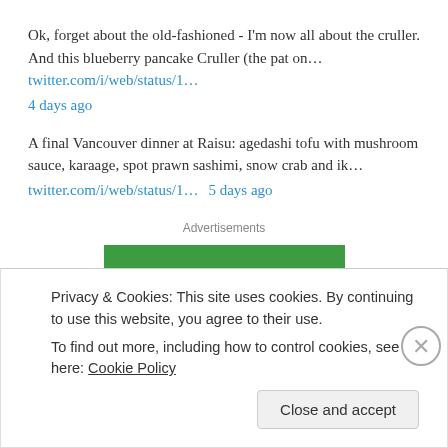Ok, forget about the old-fashioned - I'm now all about the cruller. And this blueberry pancake Cruller (the pat on… twitter.com/i/web/status/1… 4 days ago
A final Vancouver dinner at Raisu: agedashi tofu with mushroom sauce, karaage, spot prawn sashimi, snow crab and ik… twitter.com/i/web/status/1… 5 days ago
Advertisements
[Figure (logo): Jetpack logo on green background]
Privacy & Cookies: This site uses cookies. By continuing to use this website, you agree to their use. To find out more, including how to control cookies, see here: Cookie Policy